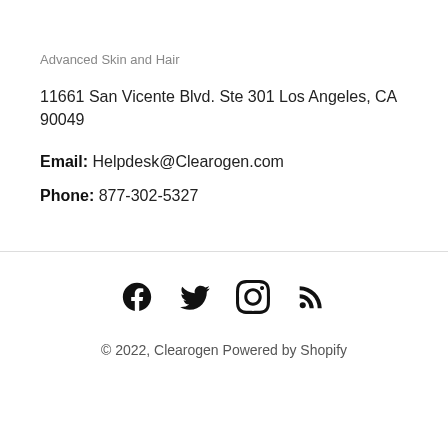Advanced Skin and Hair
11661 San Vicente Blvd. Ste 301 Los Angeles, CA 90049
Email: Helpdesk@Clearogen.com
Phone: 877-302-5327
[Figure (infographic): Social media icons: Facebook, Twitter, Instagram, RSS feed]
© 2022, Clearogen Powered by Shopify